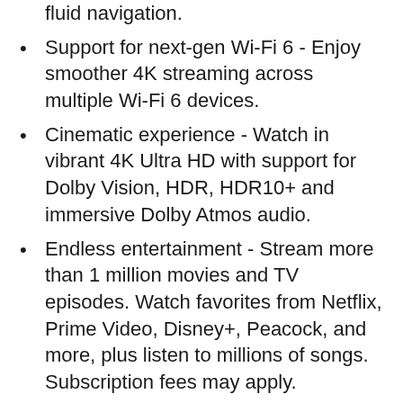fluid navigation.
Support for next-gen Wi-Fi 6 - Enjoy smoother 4K streaming across multiple Wi-Fi 6 devices.
Cinematic experience - Watch in vibrant 4K Ultra HD with support for Dolby Vision, HDR, HDR10+ and immersive Dolby Atmos audio.
Endless entertainment - Stream more than 1 million movies and TV episodes. Watch favorites from Netflix, Prime Video, Disney+, Peacock, and more, plus listen to millions of songs. Subscription fees may apply.
Live and free TV - Watch live TV, news, and sports with subscriptions to SLING TV, YouTube TV, and others. Stream for free with IMDb TV, Pluto TV, Tubi, and